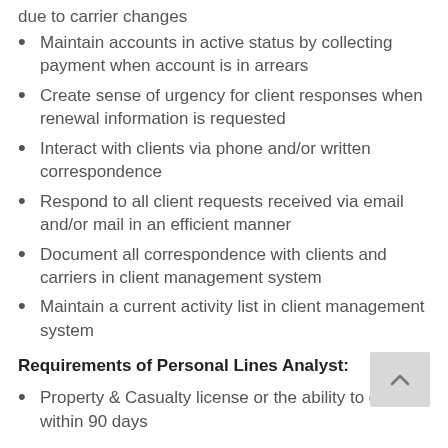due to carrier changes
Maintain accounts in active status by collecting payment when account is in arrears
Create sense of urgency for client responses when renewal information is requested
Interact with clients via phone and/or written correspondence
Respond to all client requests received via email and/or mail in an efficient manner
Document all correspondence with clients and carriers in client management system
Maintain a current activity list in client management system
Requirements of Personal Lines Analyst:
Property & Casualty license or the ability to obtain within 90 days